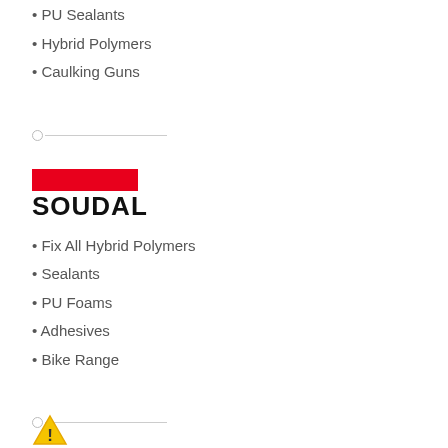PU Sealants
Hybrid Polymers
Caulking Guns
[Figure (logo): Soudal logo: red horizontal bar above bold black text SOUDAL]
Fix All Hybrid Polymers
Sealants
PU Foams
Adhesives
Bike Range
[Figure (other): Warning triangle icon partially visible at bottom]